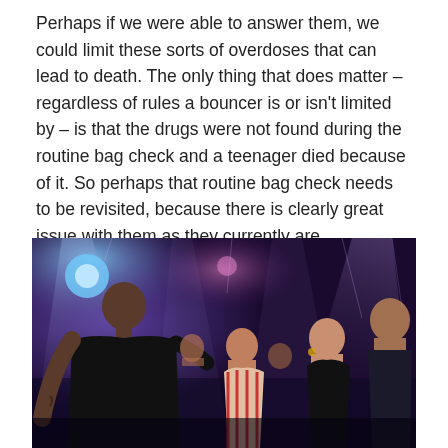Perhaps if we were able to answer them, we could limit these sorts of overdoses that can lead to death. The only thing that does matter – regardless of rules a bouncer is or isn't limited by – is that the drugs were not found during the routine bag check and a teenager died because of it. So perhaps that routine bag check needs to be revisited, because there is clearly great issue with them as they currently are.
[Figure (photo): A nightclub scene with a bald man in a black t-shirt facing a group of young people. The background shows purple and blue lighting effects typical of a nightclub environment.]